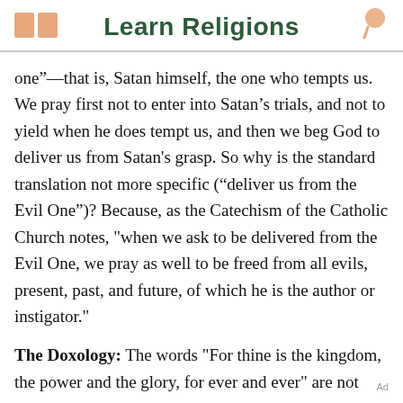Learn Religions
one”—that is, Satan himself, the one who tempts us. We pray first not to enter into Satan’s trials, and not to yield when he does tempt us, and then we beg God to deliver us from Satan's grasp. So why is the standard translation not more specific (“deliver us from the Evil One”)? Because, as the Catechism of the Catholic Church notes, "when we ask to be delivered from the Evil One, we pray as well to be freed from all evils, present, past, and future, of which he is the author or instigator."
The Doxology: The words "For thine is the kingdom, the power and the glory, for ever and ever" are not